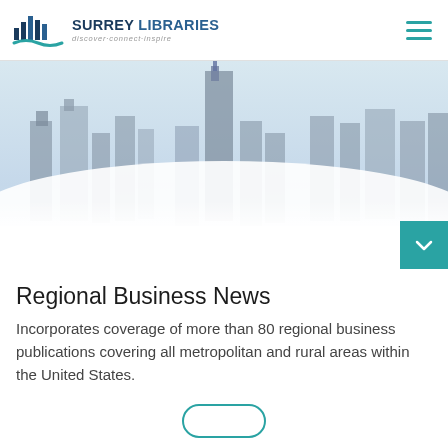Surrey Libraries — discover·connect·inspire
[Figure (photo): Aerial photograph of skyscrapers emerging from thick clouds/fog, misty cityscape]
Regional Business News
Incorporates coverage of more than 80 regional business publications covering all metropolitan and rural areas within the United States.